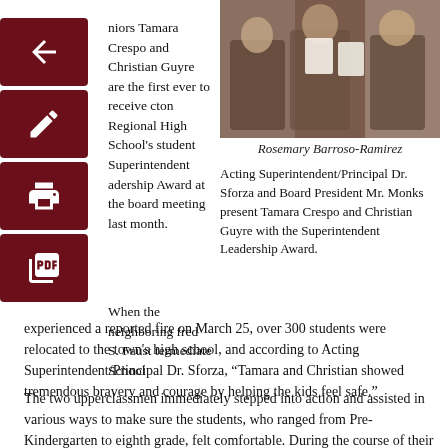[Figure (photo): Photo of three people, two holding certificates/plaques, at an awards ceremony]
Rosemary Barroso-Ramirez
Acting Superintendent/Principal Dr. Sforza and Board President Mr. Monks present Tamara Crespo and Christian Guyre with the Superintendent Leadership Award.
niors Tamara Crespo and Christian Guyre are the first ever to receive cton Regional High School's student Superintendent adership Award at the board meeting last month.
When the neighboring fred S. Faust termediate School experienced a reported fire on March 25, over 300 students were relocated to the town's high school, and according to Acting Superintendent/Principal Dr. Sforza, “Tamara and Christian showed tremendous bravery and courage by helping the kids feel safe.”
The two upperclassmen immediately stepped into action and assisted in various ways to make sure the students, who ranged from Pre-Kindergarten to eighth grade, felt comfortable. During the course of their arrival, Tamara and Christian, along with teachers, staff members, and administrators, assisted with directing visitors into the JW-PAC. They then used their private